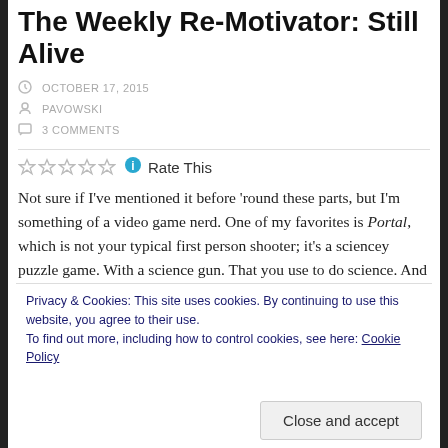The Weekly Re-Motivator: Still Alive
OCTOBER 17, 2015
PAVOWSKI
3 COMMENTS
Rate This
Not sure if I’ve mentioned it before ‘round these parts, but I’m something of a video game nerd. One of my favorites is Portal, which is not your typical first person shooter; it’s a sciencey puzzle game. With a science gun. That you use to do science. And
Privacy & Cookies: This site uses cookies. By continuing to use this website, you agree to their use.
To find out more, including how to control cookies, see here: Cookie Policy
Close and accept